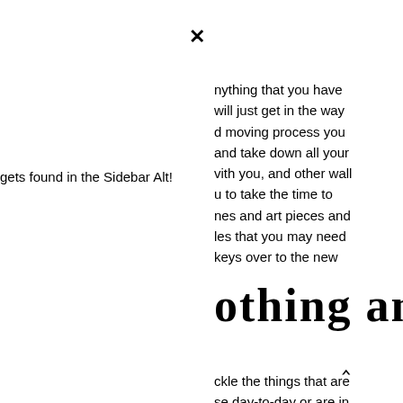×
gets found in the Sidebar Alt!
nything that you have will just get in the way d moving process you and take down all your vith you, and other wall u to take the time to nes and art pieces and les that you may need keys over to the new
othing and
^
ckle the things that are se day-to-day or are in